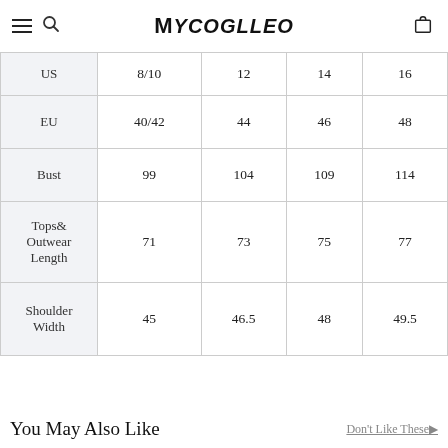MYCOGLLEO
|  | 8/10 | 12 | 14 | 16 |
| --- | --- | --- | --- | --- |
| US | 8/10 | 12 | 14 | 16 |
| EU | 40/42 | 44 | 46 | 48 |
| Bust | 99 | 104 | 109 | 114 |
| Tops & Outwear Length | 71 | 73 | 75 | 77 |
| Shoulder Width | 45 | 46.5 | 48 | 49.5 |
You May Also Like
Don't Like These